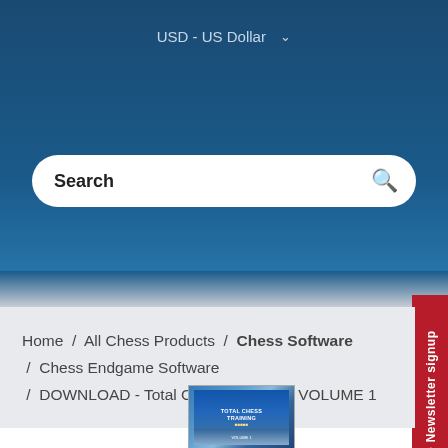USD - US Dollar
Search
Home / All Chess Products / Chess Software / Chess Endgame Software / DOWNLOAD - Total Chess Training - VOLUME 1
[Figure (screenshot): Newsletter signup tab on right side]
[Figure (photo): Product box image for Total Chess Training software]